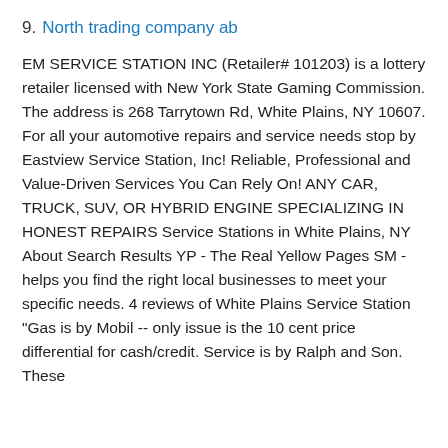9. North trading company ab
EM SERVICE STATION INC (Retailer# 101203) is a lottery retailer licensed with New York State Gaming Commission. The address is 268 Tarrytown Rd, White Plains, NY 10607. For all your automotive repairs and service needs stop by Eastview Service Station, Inc! Reliable, Professional and Value-Driven Services You Can Rely On! ANY CAR, TRUCK, SUV, OR HYBRID ENGINE SPECIALIZING IN HONEST REPAIRS Service Stations in White Plains, NY About Search Results YP - The Real Yellow Pages SM - helps you find the right local businesses to meet your specific needs. 4 reviews of White Plains Service Station "Gas is by Mobil -- only issue is the 10 cent price differential for cash/credit. Service is by Ralph and Son. These